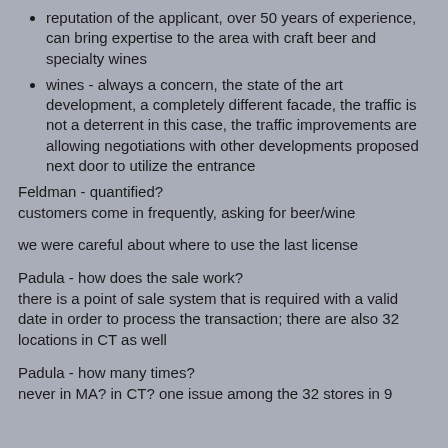reputation of the applicant, over 50 years of experience, can bring expertise to the area with craft beer and specialty wines
wines - always a concern, the state of the art development, a completely different facade, the traffic is not a deterrent in this case, the traffic improvements are allowing negotiations with other developments proposed next door to utilize the entrance
Feldman - quantified?
customers come in frequently, asking for beer/wine
we were careful about where to use the last license
Padula - how does the sale work?
there is a point of sale system that is required with a valid date in order to process the transaction; there are also 32 locations in CT as well
Padula - how many times?
never in MA? in CT? one issue among the 32 stores in 9